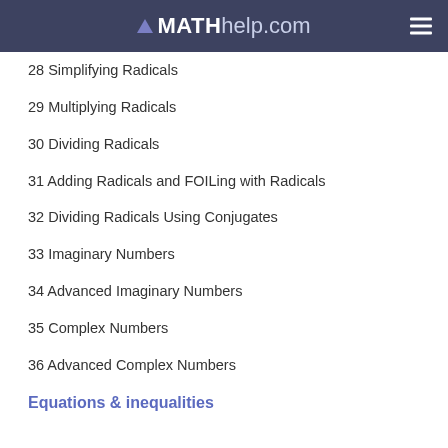MATHhelp.com
28 Simplifying Radicals
29 Multiplying Radicals
30 Dividing Radicals
31 Adding Radicals and FOILing with Radicals
32 Dividing Radicals Using Conjugates
33 Imaginary Numbers
34 Advanced Imaginary Numbers
35 Complex Numbers
36 Advanced Complex Numbers
Equations & inequalities